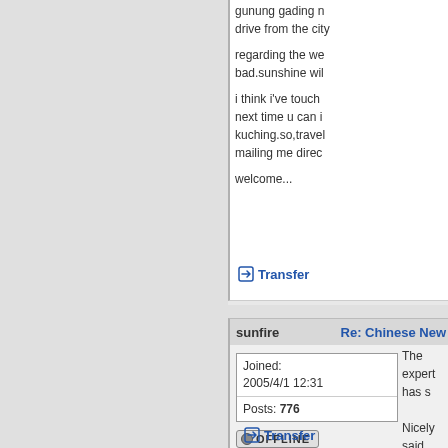gunung gading n drive from the city regarding the we bad.sunshine wil i think i've touch next time u can i kuching.so,trave mailing me direc welcome...
Transfer
sunfire
Re: Chinese New
| Joined: | 2005/4/1 12:31 |
| Posts: | 776 |
[Figure (other): Offline status button showing grey circle and OFFLINE text]
Transfer
The expert has s Nicely said. Tha